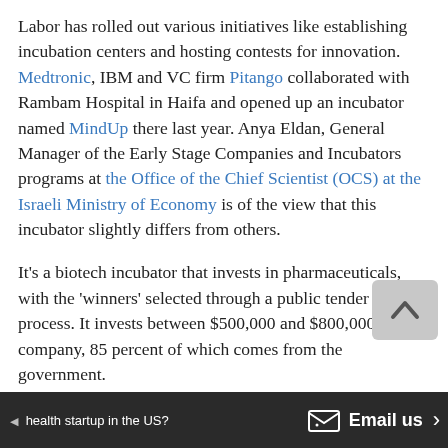Labor has rolled out various initiatives like establishing incubation centers and hosting contests for innovation. Medtronic, IBM and VC firm Pitango collaborated with Rambam Hospital in Haifa and opened up an incubator named MindUp there last year. Anya Eldan, General Manager of the Early Stage Companies and Incubators programs at the Office of the Chief Scientist (OCS) at the Israeli Ministry of Economy is of the view that this incubator slightly differs from others.
It's a biotech incubator that invests in pharmaceuticals, with the 'winners' selected through a public tender process. It invests between $500,000 and $800,000 in each company, 85 percent of which comes from the government.
Ministry of Health also hosts a contest in which they ask entrepreneurs to develop solutions addressing one or more health related problems, improving emergency room e...
health startup in the US?   Email us